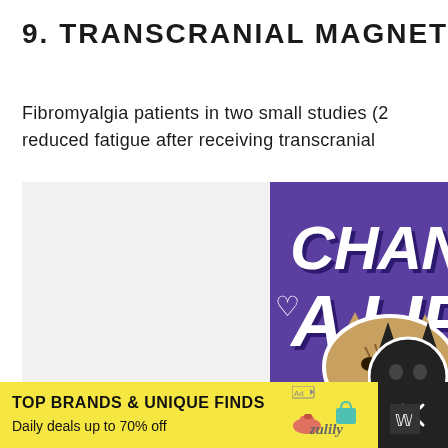9. TRANSCRANIAL MAGNETIC
Fibromyalgia patients in two small studies (2
reduced fatigue after receiving transcranial
[Figure (photo): Advertisement banner with purple background showing text 'CHANGE A LIFE' in large bold italic white letters with a heart outline, and cats (tabby and dark cat) visible at bottom of the purple section. Below is a yellow ad bar reading 'TOP BRANDS & UNIQUE FINDS - Daily deals up to 70% off' with zulily branding and a dark dismiss button with X.]